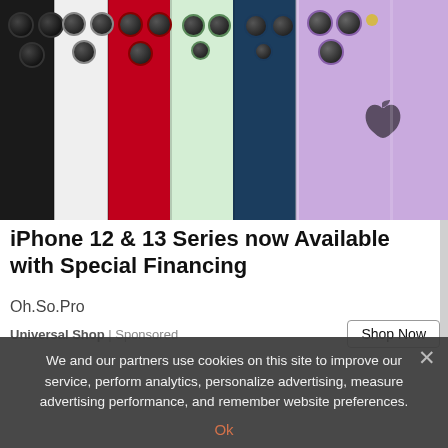[Figure (photo): Multiple iPhone 12 and 13 series phones shown from the back, arranged side by side in colors: black, white, red, green, dark blue, and purple. Dual and triple camera modules visible at top.]
iPhone 12 & 13 Series now Available with Special Financing
Oh.So.Pro
Universal Shop | Sponsored
We and our partners use cookies on this site to improve our service, perform analytics, personalize advertising, measure advertising performance, and remember website preferences.
Ok